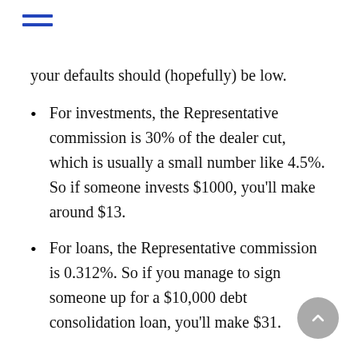≡
your defaults should (hopefully) be low.
For investments, the Representative commission is 30% of the dealer cut, which is usually a small number like 4.5%. So if someone invests $1000, you'll make around $13.
For loans, the Representative commission is 0.312%. So if you manage to sign someone up for a $10,000 debt consolidation loan, you'll make $31.